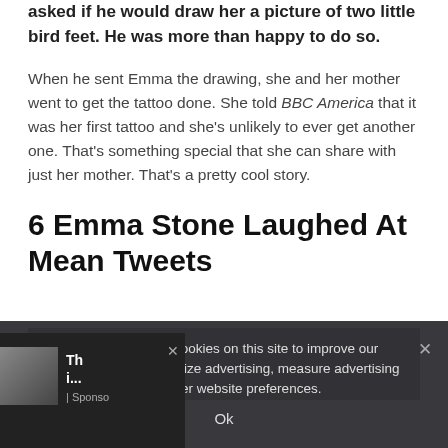asked if he would draw her a picture of two little bird feet. He was more than happy to do so.
When he sent Emma the drawing, she and her mother went to get the tattoo done. She told BBC America that it was her first tattoo and she's unlikely to ever get another one. That's something special that she can share with just her mother. That's a pretty cool story.
6 Emma Stone Laughed At Mean Tweets
[Figure (photo): Dark brown brick wall background image, partially visible behind a cookie consent overlay.]
We and our partners use cookies on this site to improve our service, analytics, personalize advertising, measure advertising performance, and remember website preferences.
Ok